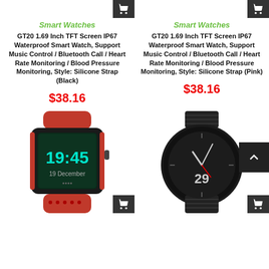Smart Watches
GT20 1.69 Inch TFT Screen IP67 Waterproof Smart Watch, Support Music Control / Bluetooth Call / Heart Rate Monitoring / Blood Pressure Monitoring, Style: Silicone Strap (Black)
$38.16
Smart Watches
GT20 1.69 Inch TFT Screen IP67 Waterproof Smart Watch, Support Music Control / Bluetooth Call / Heart Rate Monitoring / Blood Pressure Monitoring, Style: Silicone Strap (Pink)
$38.16
[Figure (photo): Red and black square-faced smartwatch showing 19:45 time display]
[Figure (photo): Black round smartwatch with mesh metal band showing analog clock face with number 29]